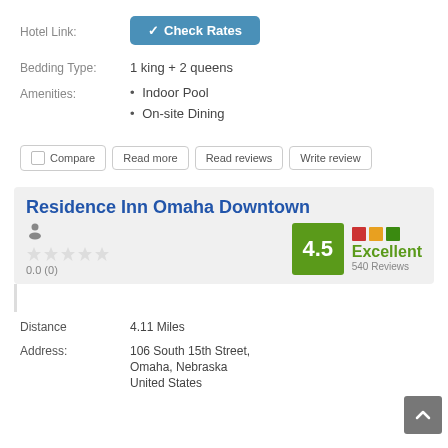Hotel Link:
Check Rates
Bedding Type:
1 king + 2 queens
Amenities:
• Indoor Pool
• On-site Dining
Compare | Read more | Read reviews | Write review
Residence Inn Omaha Downtown
0.0 (0)
4.5 Excellent 540 Reviews
Distance
4.11 Miles
Address:
106 South 15th Street, Omaha, Nebraska United States